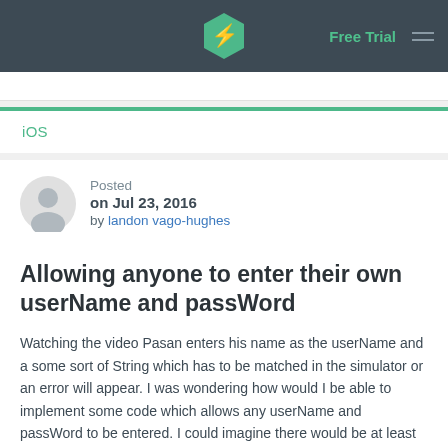Free Trial [navigation bar with logo]
iOS
Posted
on Jul 23, 2016
by landon vago-hughes
Allowing anyone to enter their own userName and passWord
Watching the video Pasan enters his name as the userName and a some sort of String which has to be matched in the simulator or an error will appear. I was wondering how would I be able to implement some code which allows any userName and passWord to be entered. I could imagine there would be at least...